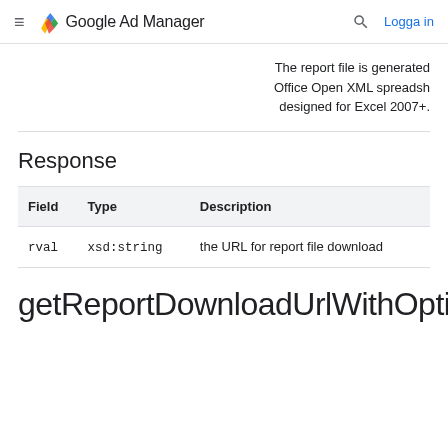≡ Google Ad Manager  🔍  Logga in
The report file is generated Office Open XML spreadsh designed for Excel 2007+.
Response
| Field | Type | Description |
| --- | --- | --- |
| rval | xsd:string | the URL for report file download |
getReportDownloadUrlWithOptions